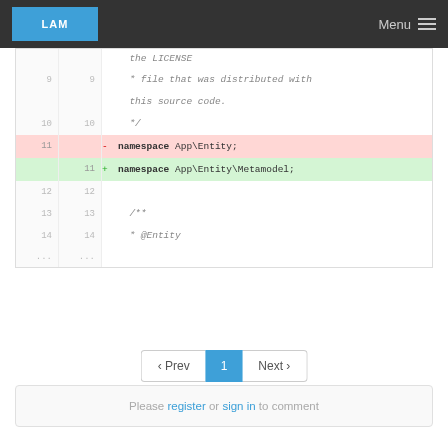LAM | Menu
[Figure (screenshot): Code diff view showing PHP namespace change. Lines 9-10 show comment text. Line 11 removed: 'namespace App\Entity;' (red background). Line 11 added: 'namespace App\Entity\Metamodel;' (green background). Lines 12-14 show blank line and start of docblock '/**' and '* @Entity'. Ellipsis rows indicate truncated content.]
‹ Prev  1  Next ›
Please register or sign in to comment